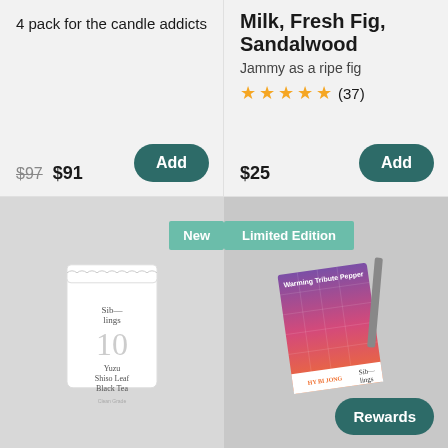4 pack for the candle addicts
$97 $91
Milk, Fresh Fig, Sandalwood
Jammy as a ripe fig
★★★★★ (37)
$25
[Figure (photo): White pouch of Siblings tea product labeled '10 Yuzu Shiso Leaf Black Tea' with 'New' badge]
[Figure (photo): Colorful gradient pepper package 'Warming Tribute Pepper' by Siblings with 'Limited Edition' badge and 'Rewards' button]